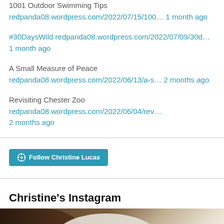1001 Outdoor Swimming Tips redpanda08.wordpress.com/2022/07/15/100… 1 month ago
#30DaysWild redpanda08.wordpress.com/2022/07/09/30d… 1 month ago
A Small Measure of Peace redpanda08.wordpress.com/2022/06/13/a-s… 2 months ago
Revisiting Chester Zoo redpanda08.wordpress.com/2022/06/04/rev… 2 months ago
[Figure (other): Follow Christine Lucas WordPress follow button]
Christine's Instagram
[Figure (photo): Instagram photo showing a dark-haired animal with white fur or object, cropped at bottom of page]